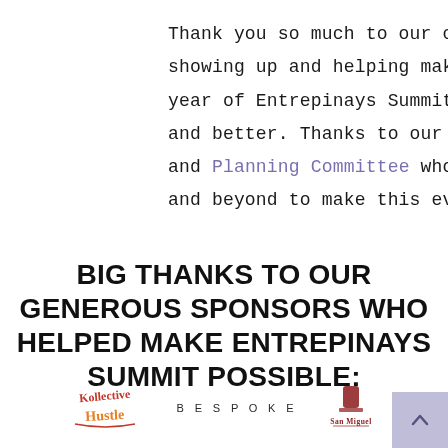Thank you so much to our community for showing up and helping make the second year of Entrepinays Summit even bigger and better. Thanks to our Advisory Board and Planning Committee who went above and beyond to make this event a success.
BIG THANKS TO OUR GENEROUS SPONSORS WHO HELPED MAKE ENTREPINAYS SUMMIT POSSIBLE:
[Figure (logo): Three sponsor logos: Kollective Hustle (script lettering in orange/red), BESPOKE (spaced uppercase sans-serif), and San Miguel (beer brand logo with illustration)]